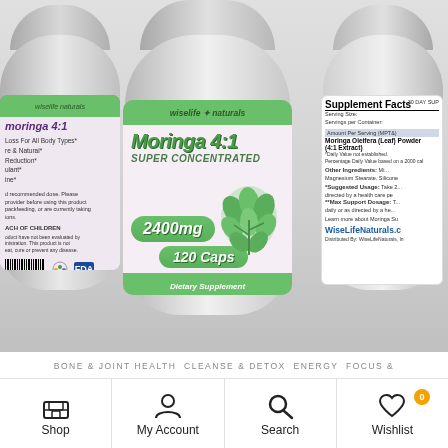[Figure (photo): Product photo showing three Wiselife Naturals Moringa 4:1 Super Concentrated dietary supplement bottles (2400mg, 120 Caps). Center bottle label is fully visible with green and pink/lavender design. Left bottle shows partial back/side label with bullet points. Right bottle shows partial Supplement Facts panel and website WiseLifeNaturals.com.]
BONE & JOINT HEALTH  CLEANSE & DETOX  ENERGY  FOCUS &
Shop   My Account   Search   Wishlist